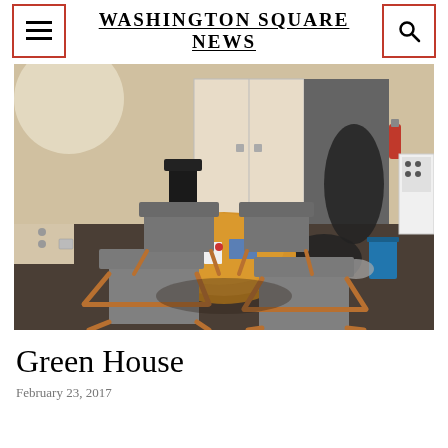Washington Square News
[Figure (photo): Interior room with a round wooden table surrounded by four wooden chairs with gray upholstered seats. In the background are white wardrobes/closets, a fire extinguisher on the wall, a blue trash can, a black garbage bag, and a white stove/oven. The room has dark carpet and beige walls.]
Green House
February 23, 2017